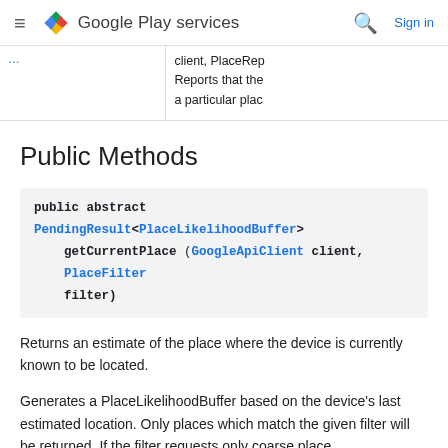Google Play services — Sign in
client, PlaceRep
Reports that the
a particular plac
Public Methods
public abstract PendingResult<PlaceLikelihoodBuffer> getCurrentPlace (GoogleApiClient client, PlaceFilter filter)
Returns an estimate of the place where the device is currently known to be located.
Generates a PlaceLikelihoodBuffer based on the device's last estimated location. Only places which match the given filter will be returned. If the filter requests only coarse place